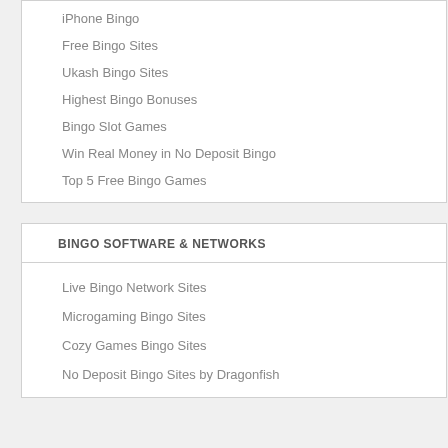iPhone Bingo
Free Bingo Sites
Ukash Bingo Sites
Highest Bingo Bonuses
Bingo Slot Games
Win Real Money in No Deposit Bingo
Top 5 Free Bingo Games
BINGO SOFTWARE & NETWORKS
Live Bingo Network Sites
Microgaming Bingo Sites
Cozy Games Bingo Sites
No Deposit Bingo Sites by Dragonfish